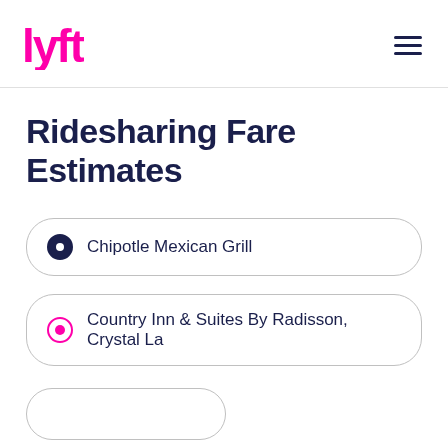[Figure (logo): Lyft pink and navy logo in top left corner]
Ridesharing Fare Estimates
Chipotle Mexican Grill
Country Inn & Suites By Radisson, Crystal La